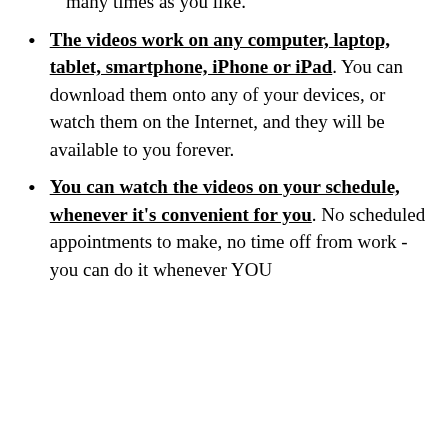many times as you like.
The videos work on any computer, laptop, tablet, smartphone, iPhone or iPad. You can download them onto any of your devices, or watch them on the Internet, and they will be available to you forever.
You can watch the videos on your schedule, whenever it's convenient for you. No scheduled appointments to make, no time off from work - you can do it whenever YOU